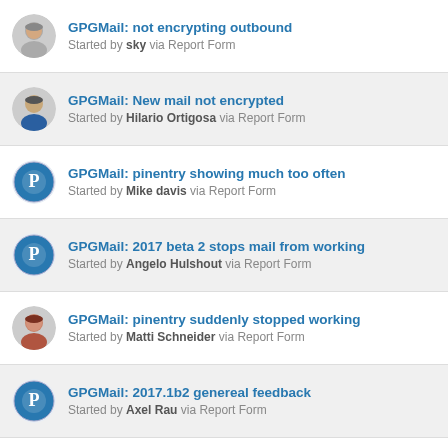GPGMail: not encrypting outbound
Started by sky via Report Form
GPGMail: New mail not encrypted
Started by Hilario Ortigosa via Report Form
GPGMail: pinentry showing much too often
Started by Mike davis via Report Form
GPGMail: 2017 beta 2 stops mail from working
Started by Angelo Hulshout via Report Form
GPGMail: pinentry suddenly stopped working
Started by Matti Schneider via Report Form
GPGMail: 2017.1b2 genereal feedback
Started by Axel Rau via Report Form
GPGMail: Apple Mail plugin not working in macos 10.12.4 Beta (1
Started by Nicolas Radulescu via Report Form
GPGMail plug-in incompatible with macOS 10.12.4 beta 4 (16E175